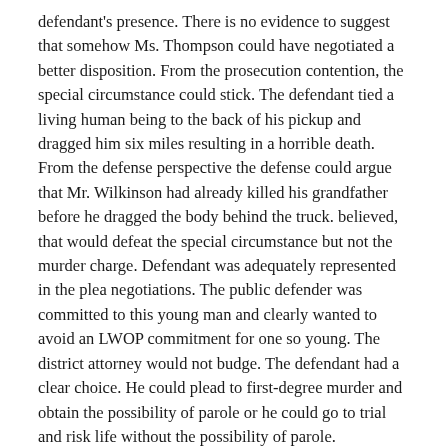defendant's presence. There is no evidence to suggest that somehow Ms. Thompson could have negotiated a better disposition. From the prosecution contention, the special circumstance could stick. The defendant tied a living human being to the back of his pickup and dragged him six miles resulting in a horrible death. From the defense perspective the defense could argue that Mr. Wilkinson had already killed his grandfather before he dragged the body behind the truck. believed, that would defeat the special circumstance but not the murder charge. Defendant was adequately represented in the plea negotiations. The public defender was committed to this young man and clearly wanted to avoid an LWOP commitment for one so young. The district attorney would not budge. The defendant had a clear choice. He could plead to first-degree murder and obtain the possibility of parole or he could go to trial and risk life without the possibility of parole.